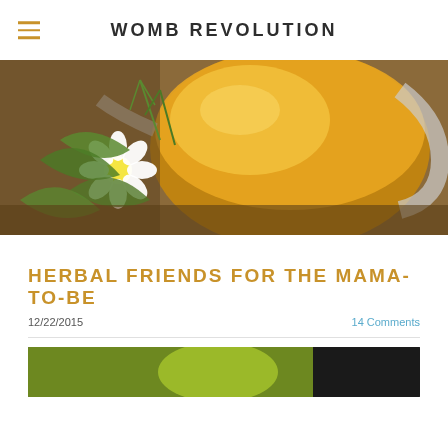WOMB REVOLUTION
[Figure (photo): Close-up photo of a glass teapot filled with golden herbal tea, with white daisy flowers and green herbs on a wooden surface]
HERBAL FRIENDS FOR THE MAMA-TO-BE
12/22/2015
14 Comments
[Figure (photo): Partial thumbnail image showing green and dark content, bottom portion of article image]